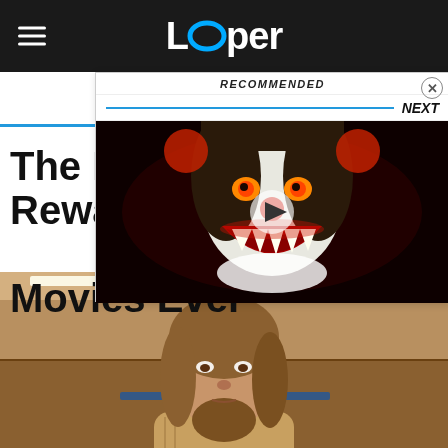Looper
[Figure (screenshot): RECOMMENDED popup overlay with NEXT label and clown/horror movie thumbnail image (Pennywise from IT)]
The Most Rewatchable Comedy Movies Ever
[Figure (photo): Man with long hair and beard in a bowling alley, wearing a tan cardigan sweater — Jeff Bridges as The Dude from The Big Lebowski]